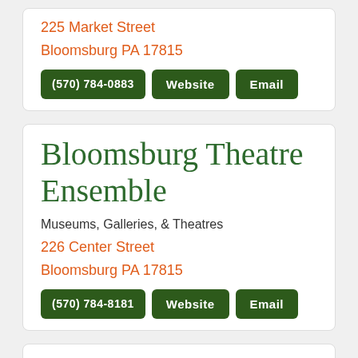225 Market Street
Bloomsburg PA 17815
(570) 784-0883 | Website | Email
Bloomsburg Theatre Ensemble
Museums, Galleries, & Theatres
226 Center Street
Bloomsburg PA 17815
(570) 784-8181 | Website | Email